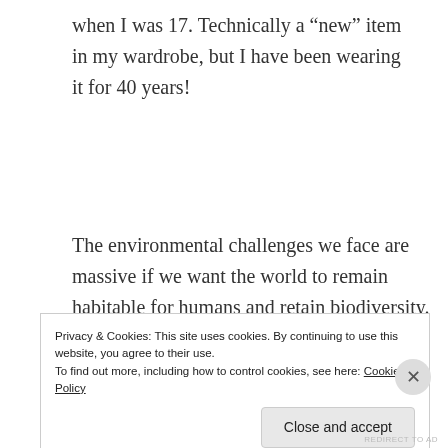when I was 17. Technically a “new” item in my wardrobe, but I have been wearing it for 40 years!
The environmental challenges we face are massive if we want the world to remain habitable for humans and retain biodiversity. For example, to keep global warming this century below 2°C, then we need to reduce our
Privacy & Cookies: This site uses cookies. By continuing to use this website, you agree to their use.
To find out more, including how to control cookies, see here: Cookie Policy
Close and accept
REDIRECT TO AD